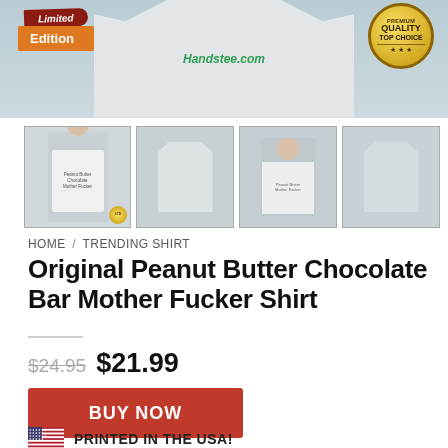[Figure (photo): Banner image showing a grey t-shirt/hoodie on a person with 'Limited Edition' badge on left, Handstee.com watermark in center, and Premium Quality Top Choice gold badge on right]
[Figure (photo): Four product thumbnail images of t-shirts shown in a row]
HOME / TRENDING SHIRT
Original Peanut Butter Chocolate Bar Mother Fucker Shirt
$24.95  $21.99
BUY NOW
PRINTED IN THE USA!